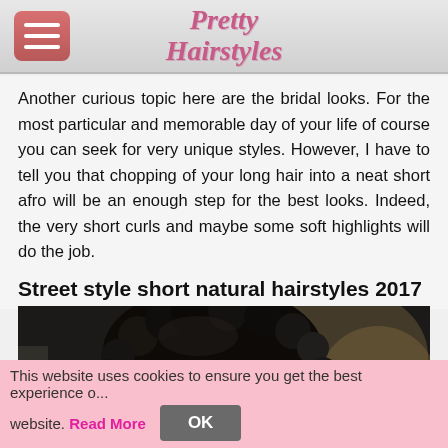Pretty Hairstyles
Another curious topic here are the bridal looks. For the most particular and memorable day of your life of course you can seek for very unique styles. However, I have to tell you that chopping of your long hair into a neat short afro will be an enough step for the best looks. Indeed, the very short curls and maybe some soft highlights will do the job.
Street style short natural hairstyles 2017
[Figure (photo): Close-up photo of a person with short natural curly black afro hair, dark background, partial face visible from behind]
This website uses cookies to ensure you get the best experience on our website. Read More OK